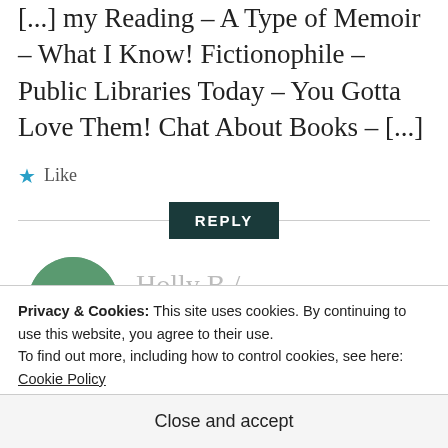[...] my Reading – A Type of Memoir – What I Know! Fictionophile – Public Libraries Today – You Gotta Love Them! Chat About Books – [...]
★ Like
REPLY
[Figure (photo): Circular avatar photo of Holly B / Dressedtoread]
Holly B / Dressedtoread
Privacy & Cookies: This site uses cookies. By continuing to use this website, you agree to their use. To find out more, including how to control cookies, see here: Cookie Policy
Close and accept